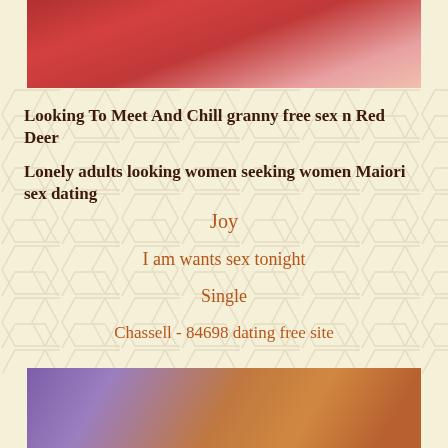[Figure (photo): Top photo showing person in red bikini top, cropped image]
Looking To Meet And Chill granny free sex n Red Deer
Lonely adults looking women seeking women Maiori sex dating
Joy
I am wants sex tonight
Single
Chassell - 84698 dating free site
[Figure (photo): Bottom photo showing person in dark top against purple background]